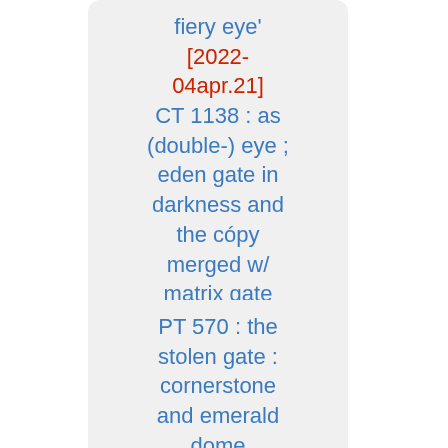fiery eye' [2022-04apr.21] CT 1138 : as (double-) eye ; eden gate in darkness and the copy merged w/ matrix gate [useful ; 2022-04apr.23]
PT 570 : the stolen gate : cornerstone and emerald dome (as stolen and copied